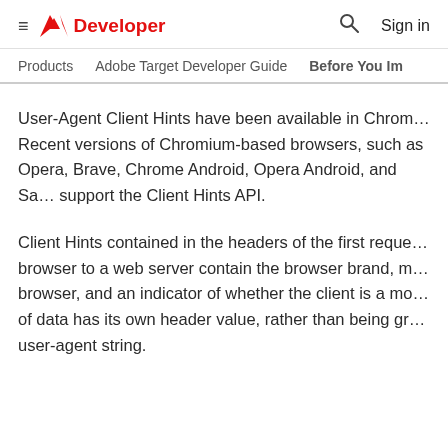≡  Adobe Developer  🔍  Sign in
Products   Adobe Target Developer Guide   Before You Im…
User-Agent Client Hints have been available in Chrom… Recent versions of Chromium-based browsers, such as Opera, Brave, Chrome Android, Opera Android, and Sa… support the Client Hints API.
Client Hints contained in the headers of the first reque… browser to a web server contain the browser brand, m… browser, and an indicator of whether the client is a mo… of data has its own header value, rather than being gr… user-agent string.